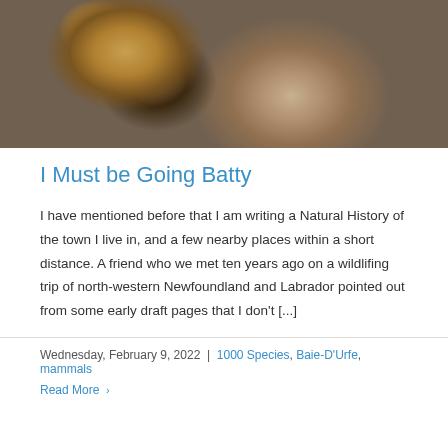[Figure (photo): Close-up photograph of a bat with brownish-orange fur on its back and face, dark wings/limbs, clinging to a rough bark surface. Dark background.]
I Must be Going Batty
I have mentioned before that I am writing a Natural History of the town I live in, and a few nearby places within a short distance. A friend who we met ten years ago on a wildlifing trip of north-western Newfoundland and Labrador pointed out from some early draft pages that I don't [...]
Wednesday, February 9, 2022  |  1000 Species, Baie-D'Urfe, mammals
Read More ›